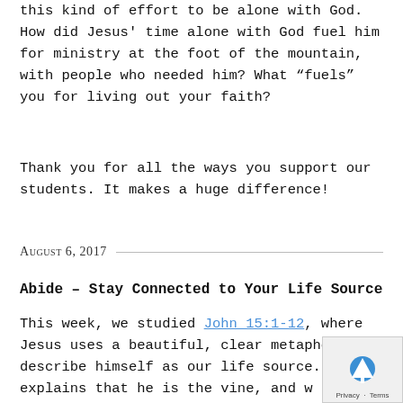this kind of effort to be alone with God. How did Jesus' time alone with God fuel him for ministry at the foot of the mountain, with people who needed him? What “fuels” you for living out your faith?
Thank you for all the ways you support our students. It makes a huge difference!
August 6, 2017
Abide – Stay Connected to Your Life Source
This week, we studied John 15:1-12, where Jesus uses a beautiful, clear metaphor to describe himself as our life source. He explains that he is the vine, and w the branches.